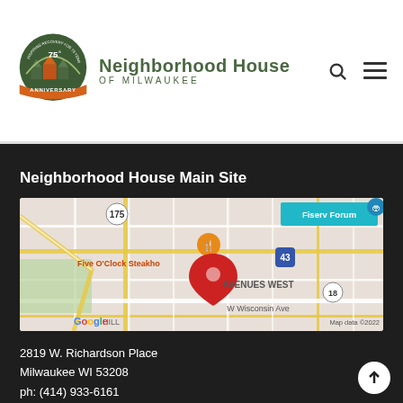[Figure (logo): Neighborhood House of Milwaukee 75th Anniversary logo with orange ribbon and green arch]
Neighborhood House OF MILWAUKEE
[Figure (map): Google Maps screenshot showing Neighborhood House location near Five O'Clock Steakhouse and Fiserv Forum in Avenues West area, Milwaukee WI. Map data ©2022]
Neighborhood House Main Site
2819 W. Richardson Place
Milwaukee WI 53208
ph: (414) 933-6161